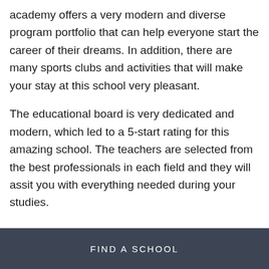academy offers a very modern and diverse program portfolio that can help everyone start the career of their dreams. In addition, there are many sports clubs and activities that will make your stay at this school very pleasant.
The educational board is very dedicated and modern, which led to a 5-start rating for this amazing school. The teachers are selected from the best professionals in each field and they will assit you with everything needed during your studies.
FIND A SCHOOL